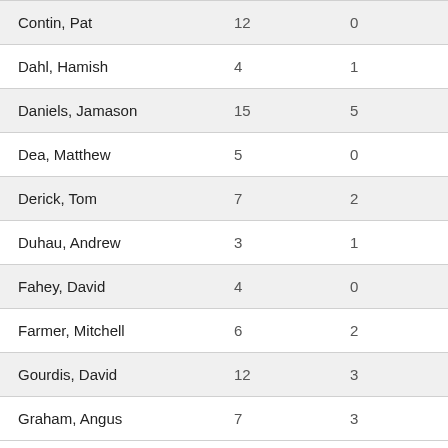| Contin, Pat | 12 | 0 |
| Dahl, Hamish | 4 | 1 |
| Daniels, Jamason | 15 | 5 |
| Dea, Matthew | 5 | 0 |
| Derick, Tom | 7 | 2 |
| Duhau, Andrew | 3 | 1 |
| Fahey, David | 4 | 0 |
| Farmer, Mitchell | 6 | 2 |
| Gourdis, David | 12 | 3 |
| Graham, Angus | 7 | 3 |